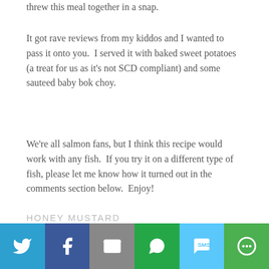threw this meal together in a snap.
It got rave reviews from my kiddos and I wanted to pass it onto you.  I served it with baked sweet potatoes (a treat for us as it's not SCD compliant) and some sauteed baby bok choy.
We're all salmon fans, but I think this recipe would work with any fish.  If you try it on a different type of fish, please let me know how it turned out in the comments section below.  Enjoy!
HONEY MUSTARD
GLAZED SALMON
[Figure (infographic): Social media sharing bar with 6 buttons: Twitter (blue), Facebook (dark blue), Email (gray), WhatsApp (green), SMS (light blue), More (green) — each with a white icon]